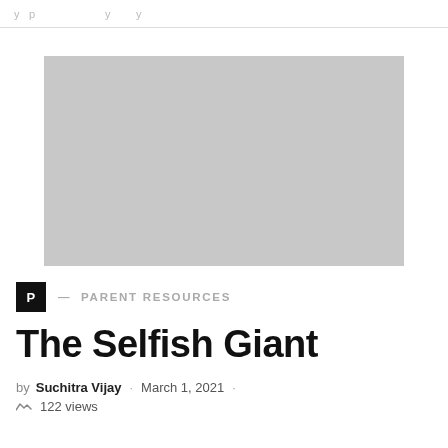…y p … … … y … y …
[Figure (photo): Large placeholder/featured image in light gray, approximately 360x210px, centered on the page.]
P — PARENT RESOURCES
The Selfish Giant
by Suchitra Vijay · March 1, 2021 · 122 views